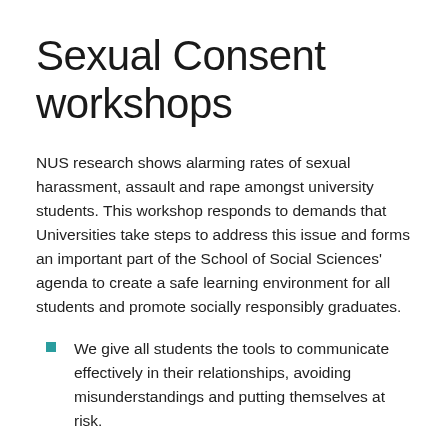Sexual Consent workshops
NUS research shows alarming rates of sexual harassment, assault and rape amongst university students. This workshop responds to demands that Universities take steps to address this issue and forms an important part of the School of Social Sciences' agenda to create a safe learning environment for all students and promote socially responsibly graduates.
We give all students the tools to communicate effectively in their relationships, avoiding misunderstandings and putting themselves at risk.